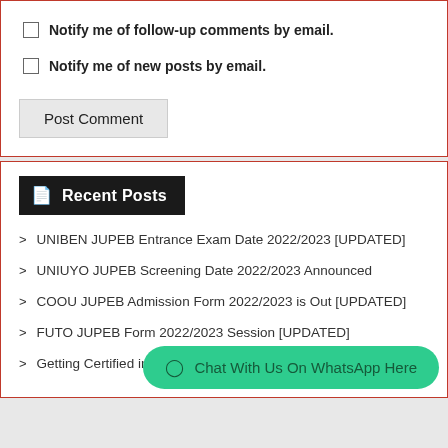Notify me of follow-up comments by email.
Notify me of new posts by email.
Post Comment
Recent Posts
UNIBEN JUPEB Entrance Exam Date 2022/2023 [UPDATED]
UNIUYO JUPEB Screening Date 2022/2023 Announced
COOU JUPEB Admission Form 2022/2023 is Out [UPDATED]
FUTO JUPEB Form 2022/2023 Session [UPDATED]
Getting Certified in Azu...
Chat With Us On WhatsApp Here